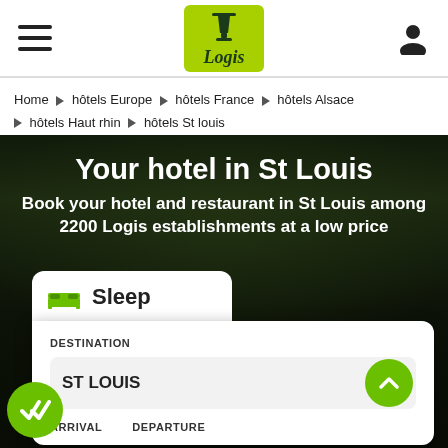Logis Hotels navigation header with hamburger menu and user icon
Home ▶ hôtels Europe ▶ hôtels France ▶ hôtels Alsace ▶ hôtels Haut rhin ▶ hôtels St louis
Your hotel in St Louis
Book your hotel and restaurant in St Louis among 2200 Logis establishments at a low price
Sleep
DESTINATION
ST LOUIS
ARRIVAL
DEPARTURE